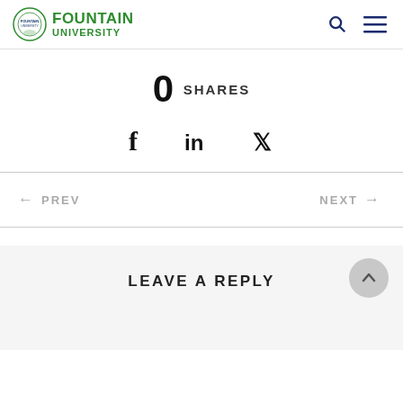FOUNTAIN UNIVERSITY
0 SHARES
[Figure (other): Social share icons: Facebook (f), LinkedIn (in), Twitter (bird icon)]
← PREV
NEXT →
LEAVE A REPLY